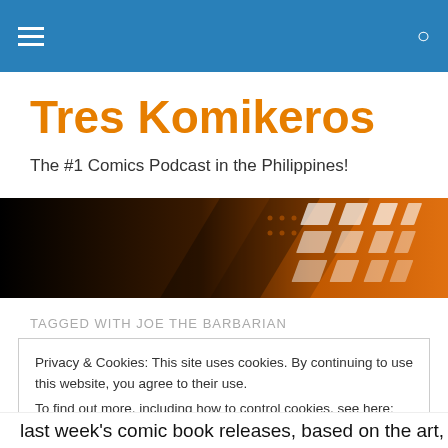Tres Komikeros navigation bar
Tres Komikeros
The #1 Comics Podcast in the Philippines!
[Figure (illustration): Dark to orange gradient hero banner with abstract diagonal geometric shapes and halftone comic book panel pattern fading from black on the left to orange on the right.]
TAGGED WITH JOE THE BARBARIAN
Privacy & Cookies: This site uses cookies. By continuing to use this website, you agree to their use.
To find out more, including how to control cookies, see here: Cookie Policy
[Close and accept]
last week's comic book releases, based on the art, design